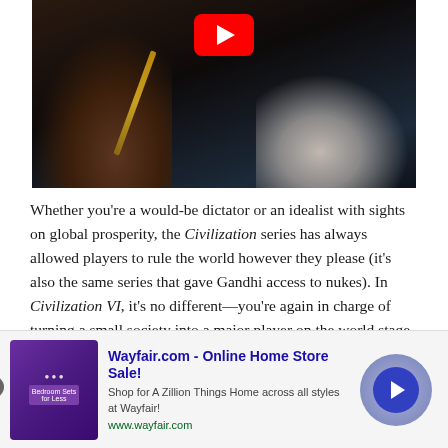[Figure (screenshot): A dark cinematic video thumbnail showing hands holding a pen/stylus over a surface, with a YouTube play button overlay at the top center.]
Whether you're a would-be dictator or an idealist with sights on global prosperity, the Civilization series has always allowed players to rule the world however they please (it's also the same series that gave Gandhi access to nukes). In Civilization VI, it's no different—you're again in charge of turning a small society into a major player on the world stage. You accomplish this through trade, peace, and war, and like any chess game, every move you make has ripple effects down the line. While it's known as a PC staple, the more recent titles have gone to
[Figure (screenshot): Advertisement banner for Wayfair.com - Online Home Store Sale! with product image showing bedroom furniture on purple background, Wayfair logo circle with arrow, and close button.]